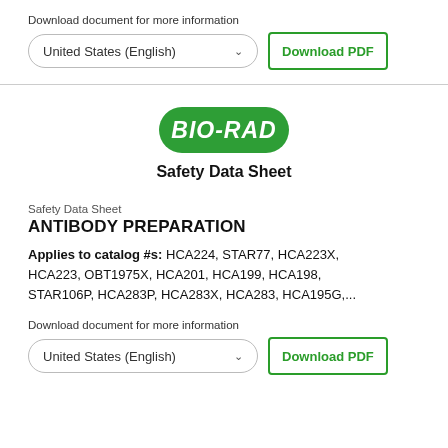Download document for more information
United States (English)  Download PDF
[Figure (logo): Bio-Rad logo: rounded rectangle with green background and white italic bold text 'BIO-RAD']
Safety Data Sheet
Safety Data Sheet
ANTIBODY PREPARATION
Applies to catalog #s: HCA224, STAR77, HCA223X, HCA223, OBT1975X, HCA201, HCA199, HCA198, STAR106P, HCA283P, HCA283X, HCA283, HCA195G,...
Download document for more information
United States (English)  Download PDF